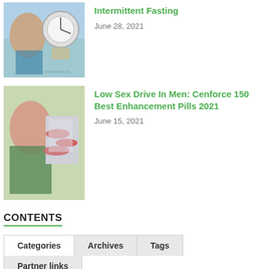[Figure (photo): Photo related to Intermittent Fasting - shows person with large jeans and a clock/scale]
Intermittent Fasting
June 28, 2021
[Figure (photo): Photo related to Low Sex Drive In Men - shows woman and pills]
Low Sex Drive In Men: Cenforce 150 Best Enhancement Pills 2021
June 15, 2021
CONTENTS
Categories | Archives | Tags | Partner links
better health (25)
department of health (13)